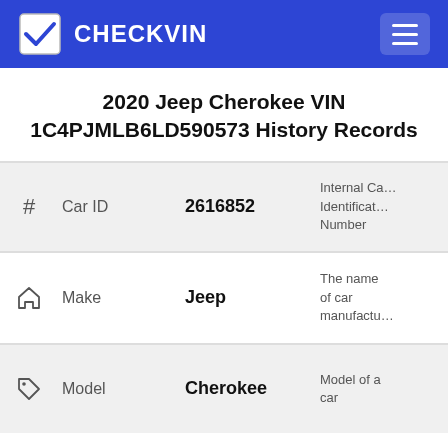CHECKVIN
2020 Jeep Cherokee VIN 1C4PJMLB6LD590573 History Records
| # | Car ID | 2616852 | Internal Car Identification Number |
| --- | --- | --- | --- |
| (home icon) | Make | Jeep | The name of car manufactu… |
| (tag icon) | Model | Cherokee | Model of a car |